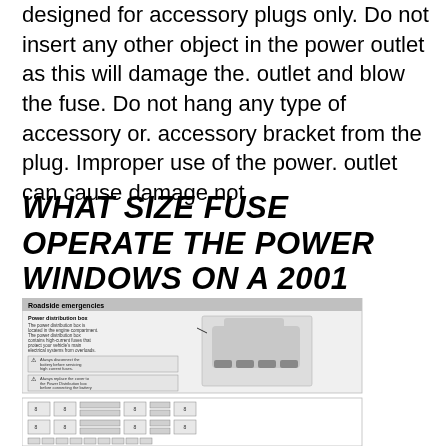designed for accessory plugs only. Do not insert any other object in the power outlet as this will damage the. outlet and blow the fuse. Do not hang any type of accessory or. accessory bracket from the plug. Improper use of the power. outlet can cause damage not
WHAT SIZE FUSE OPERATE THE POWER WINDOWS ON A 2001 FORD
[Figure (illustration): Scanned page from a Ford vehicle owner's manual showing 'Roadside emergencies' section with 'Power distribution box' description and fuse box diagram with labeled fuse layout grid]